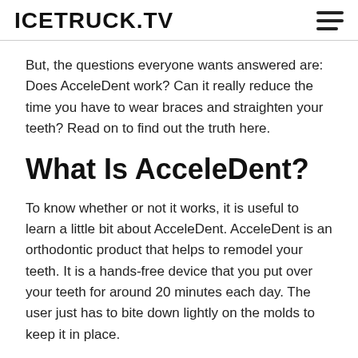ICETRUCK.TV
But, the questions everyone wants answered are: Does AcceleDent work? Can it really reduce the time you have to wear braces and straighten your teeth? Read on to find out the truth here.
What Is AcceleDent?
To know whether or not it works, it is useful to learn a little bit about AcceleDent. AcceleDent is an orthodontic product that helps to remodel your teeth. It is a hands-free device that you put over your teeth for around 20 minutes each day. The user just has to bite down lightly on the molds to keep it in place.